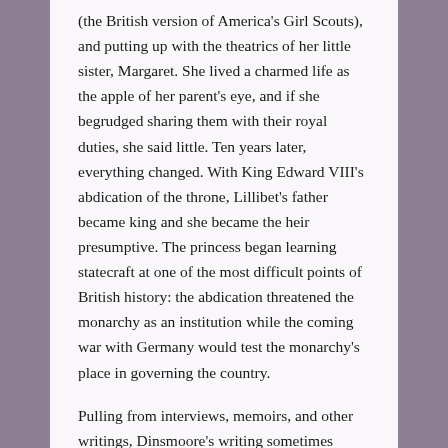(the British version of America's Girl Scouts), and putting up with the theatrics of her little sister, Margaret. She lived a charmed life as the apple of her parent's eye, and if she begrudged sharing them with their royal duties, she said little. Ten years later, everything changed. With King Edward VIII's abdication of the throne, Lillibet's father became king and she became the heir presumptive. The princess began learning statecraft at one of the most difficult points of British history: the abdication threatened the monarchy as an institution while the coming war with Germany would test the monarchy's place in governing the country.
Pulling from interviews, memoirs, and other writings, Dinsmoore's writing sometimes resembles a day planner more than a narrative, but her attention to